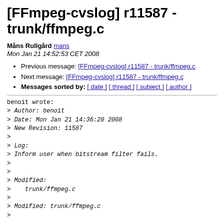[FFmpeg-cvslog] r11587 - trunk/ffmpeg.c
Måns Rullgård mans
Mon Jan 21 14:52:53 CET 2008
Previous message: [FFmpeg-cvslog] r11587 - trunk/ffmpeg.c
Next message: [FFmpeg-cvslog] r11587 - trunk/ffmpeg.c
Messages sorted by: [ date ] [ thread ] [ subject ] [ author ]
benoit wrote:
> Author: benoit
> Date: Mon Jan 21 14:36:20 2008
> New Revision: 11587
>
> Log:
> Inform user when bitstream filter fails.
>
>
> Modified:
>    trunk/ffmpeg.c
>
> Modified: trunk/ffmpeg.c
>